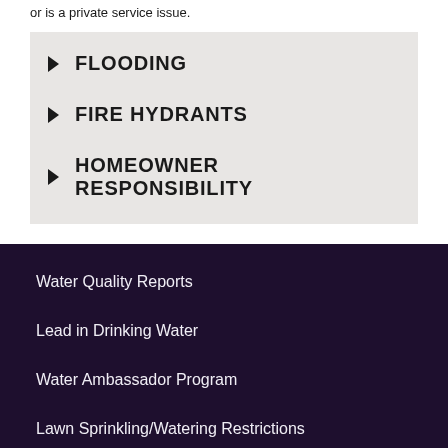or is a private service issue.
▶ FLOODING
▶ FIRE HYDRANTS
▶ HOMEOWNER RESPONSIBILITY
Water Quality Reports
Lead in Drinking Water
Water Ambassador Program
Lawn Sprinkling/Watering Restrictions
Sewer Cost Share Programs